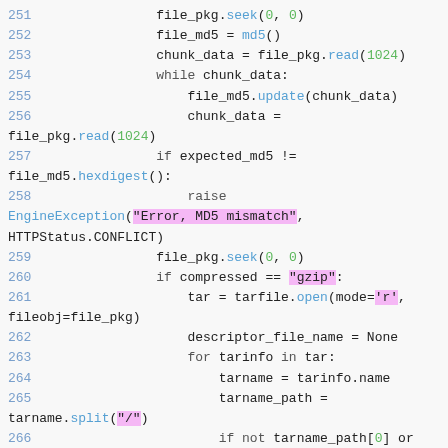[Figure (screenshot): Python source code snippet showing lines 251-267, with syntax highlighting. Blue line numbers, green numbers/method calls, pink highlighted strings, grey keyword text, italic grey comments on a light grey background.]